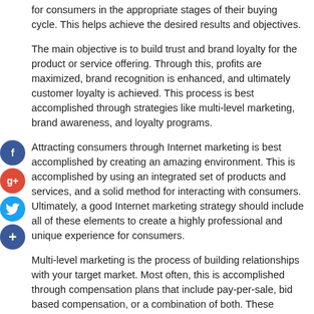for consumers in the appropriate stages of their buying cycle. This helps achieve the desired results and objectives.
The main objective is to build trust and brand loyalty for the product or service offering. Through this, profits are maximized, brand recognition is enhanced, and ultimately customer loyalty is achieved. This process is best accomplished through strategies like multi-level marketing, brand awareness, and loyalty programs.
Attracting consumers through Internet marketing is best accomplished by creating an amazing environment. This is accomplished by using an integrated set of products and services, and a solid method for interacting with consumers. Ultimately, a good Internet marketing strategy should include all of these elements to create a highly professional and unique experience for consumers.
Multi-level marketing is the process of building relationships with your target market. Most often, this is accomplished through compensation plans that include pay-per-sale, bid based compensation, or a combination of both. These programs create a "win-win" situation for both the seller and the customer. Additionally, with today's technology, marketers can easily build accounts and send messages directly to consumers.
Through Internet marketing, branding and brand awareness are built.